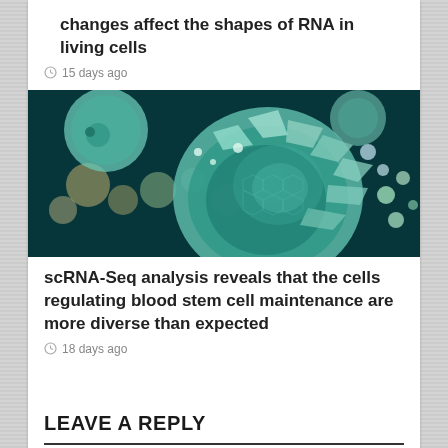changes affect the shapes of RNA in living cells
15 days ago
[Figure (photo): Scientific illustration of biological cells, showing a partially opened cell revealing internal structure with glowing dots and particles in teal and warm tones against a dark background.]
scRNA-Seq analysis reveals that the cells regulating blood stem cell maintenance are more diverse than expected
18 days ago
LEAVE A REPLY
Your email address will not be published.